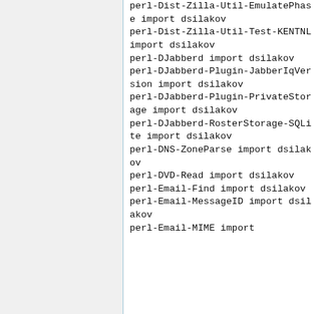perl-Dist-Zilla-Util-EmulatePhase import dsilakov
perl-Dist-Zilla-Util-Test-KENTNL import dsilakov
perl-DJabberd import dsilakov
perl-DJabberd-Plugin-JabberIqVersion import dsilakov
perl-DJabberd-Plugin-PrivateStorage import dsilakov
perl-DJabberd-RosterStorage-SQLite import dsilakov
perl-DNS-ZoneParse import dsilakov
perl-DVD-Read import dsilakov
perl-Email-Find import dsilakov
perl-Email-MessageID import dsilakov
perl-Email-MIME import